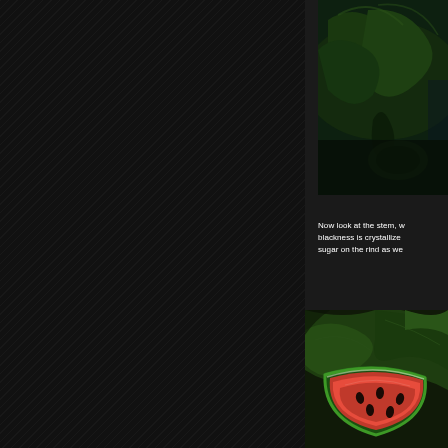[Figure (photo): Close-up photo of green watermelon leaves and vine, dark tones, partially visible at top right of page]
Now look at the stem, w... blackness is crystallize... sugar on the rind as we...
[Figure (photo): Photo of a watermelon cut open showing red flesh, surrounded by green leaves, bottom right of page]